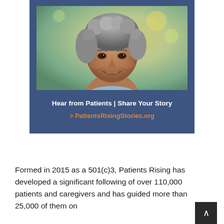[Figure (photo): Portrait photograph of a middle-aged woman with short curly gray hair, smiling, wearing a light blue top, outdoors with blurred green background.]
Hear from Patients | Share Your Story
> PatientsRisingStories.org
Formed in 2015 as a 501(c)3, Patients Rising has developed a significant following of over 110,000 patients and caregivers and has guided more than 25,000 of them on